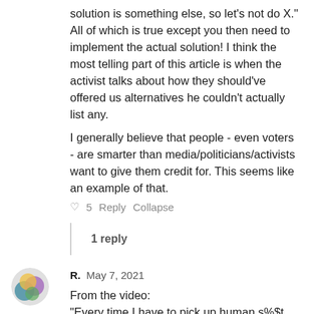solution is something else, so let's not do X." All of which is true except you then need to implement the actual solution! I think the most telling part of this article is when the activist talks about how they should've offered us alternatives he couldn't actually list any.
I generally believe that people - even voters - are smarter than media/politicians/activists want to give them credit for. This seems like an example of that.
♡ 5   Reply   Collapse
1 reply
R.   May 7, 2021
From the video:
"Every time I have to pick up human s%$t, my liberalness just got lowered one more notch."
Holds true for a very high number of folks in Portland